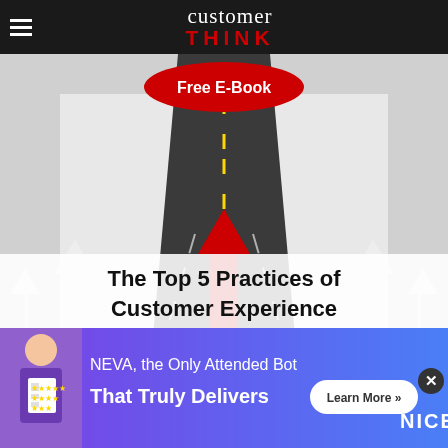customerTHINK
[Figure (illustration): Book cover image: road with white and red arrows pointing upward, text 'Free E-Book' at top, 'The Top 5 Practices of Customer Experience WINNERS' overlaid at bottom]
Recent Comments
[Figure (infographic): Advertisement banner: NEVA, the Only Attended Bot That Truly Delivers, with Learn More button and NICE logo, purple/blue gradient background with cartoon person on left]